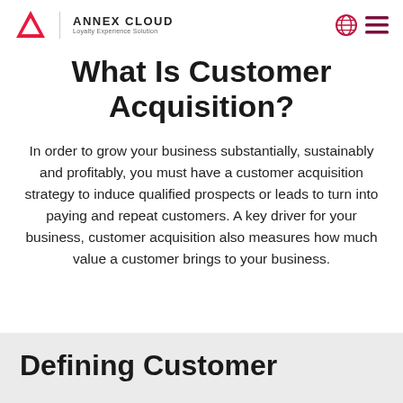ANNEX CLOUD Loyalty Experience Solution
What Is Customer Acquisition?
In order to grow your business substantially, sustainably and profitably, you must have a customer acquisition strategy to induce qualified prospects or leads to turn into paying and repeat customers. A key driver for your business, customer acquisition also measures how much value a customer brings to your business.
Defining Customer